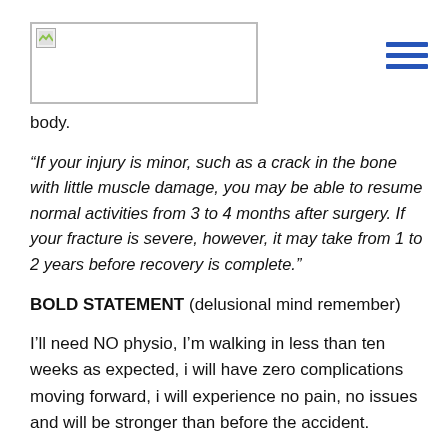[Figure (logo): Logo placeholder image in top-left header area with hamburger menu icon on the right]
body.
“If your injury is minor, such as a crack in the bone with little muscle damage, you may be able to resume normal activities from 3 to 4 months after surgery. If your fracture is severe, however, it may take from 1 to 2 years before recovery is complete.”
BOLD STATEMENT (delusional mind remember)
I’ll need NO physio, I’m walking in less than ten weeks as expected, i will have zero complications moving forward, i will experience no pain, no issues and will be stronger than before the accident.